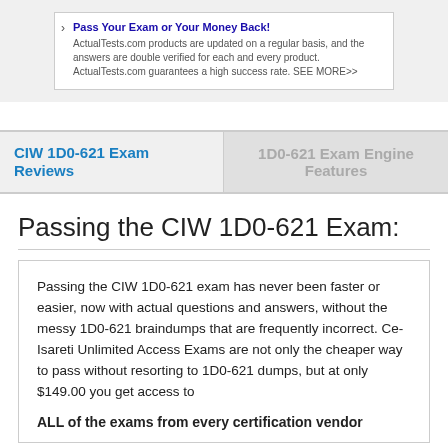[Figure (other): Ad banner with box: Pass Your Exam or Your Money Back! ActualTests.com products are updated on a regular basis, and the answers are double verified for each and every product. ActualTests.com guarantees a high success rate. SEE MORE>>]
CIW 1D0-621 Exam Reviews | 1D0-621 Exam Engine Features
Passing the CIW 1D0-621 Exam:
Passing the CIW 1D0-621 exam has never been faster or easier, now with actual questions and answers, without the messy 1D0-621 braindumps that are frequently incorrect. Ce-Isareti Unlimited Access Exams are not only the cheaper way to pass without resorting to 1D0-621 dumps, but at only $149.00 you get access to
ALL of the exams from every certification vendor